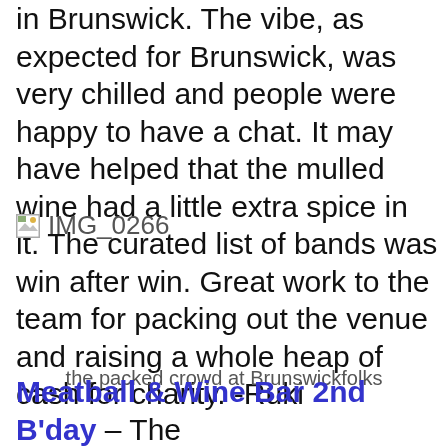in Brunswick. The vibe, as expected for Brunswick, was very chilled and people were happy to have a chat. It may have helped that the mulled wine had a little extra spice in it. The curated list of bands was win after win. Great work to the team for packing out the venue and raising a whole heap of cash for charity. -Ruki
[Figure (photo): Broken image placeholder showing IMG_0266 — the packed crowd at Brunswickfolks]
the packed crowd at Brunswickfolks
Meatball & Wine Bar 2nd B'day – The